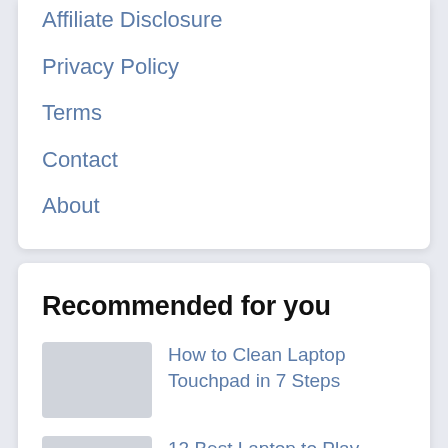Affiliate Disclosure
Privacy Policy
Terms
Contact
About
Recommended for you
How to Clean Laptop Touchpad in 7 Steps
12 Best Laptop to Play Minecraft in 2022 (Gamer's